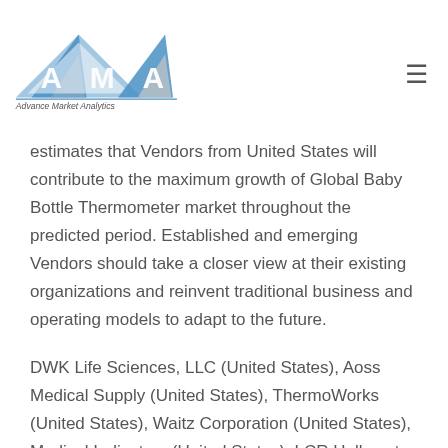[Figure (logo): Advance Market Analytics logo — blue and grey triangles forming stylized 'AMA' letters with company name below]
estimates that Vendors from United States will contribute to the maximum growth of Global Baby Bottle Thermometer market throughout the predicted period. Established and emerging Vendors should take a closer view at their existing organizations and reinvent traditional business and operating models to adapt to the future.
DWK Life Sciences, LLC (United States), Aoss Medical Supply (United States), ThermoWorks (United States), Waitz Corporation (United States), Medical Indicators (United States), LCR Hallcrest (United States), Dealmed (United States), Mediaid (United States) and BV Medical (New Zealand) are some of